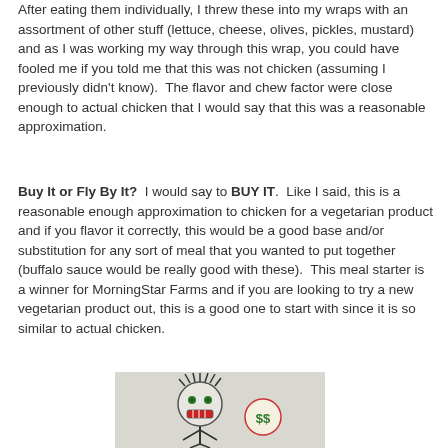After eating them individually, I threw these into my wraps with an assortment of other stuff (lettuce, cheese, olives, pickles, mustard) and as I was working my way through this wrap, you could have fooled me if you told me that this was not chicken (assuming I previously didn't know).  The flavor and chew factor were close enough to actual chicken that I would say that this was a reasonable approximation.
Buy It or Fly By It?  I would say to BUY IT.  Like I said, this is a reasonable enough approximation to chicken for a vegetarian product and if you flavor it correctly, this would be a good base and/or substitution for any sort of meal that you wanted to put together (buffalo sauce would be really good with these).  This meal starter is a winner for MorningStar Farms and if you are looking to try a new vegetarian product out, this is a good one to start with since it is so similar to actual chicken.
[Figure (illustration): A cartoon stick figure with a round face, spiky hair, dollar sign eyes, and what appears to be a mouth showing teeth, with a '$$' symbol on the right side]